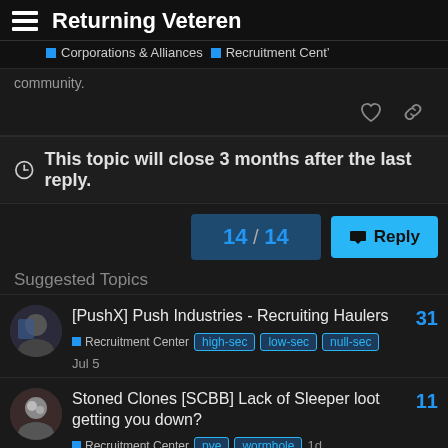Returning Veteren
Corporations & Alliances  Recruitment Center
community.
This topic will close 3 months after the last reply.
14 / 14
Reply
Suggested Topics
[PushX] Push Industries - Recruiting Haulers
Recruitment Center  high-sec  low-sec  null-sec  Jul 5  31
Stoned Clones [SCBB] Lack of Sleeper loot getting you down?
Recruitment Center  pve  wormhole  1d  11